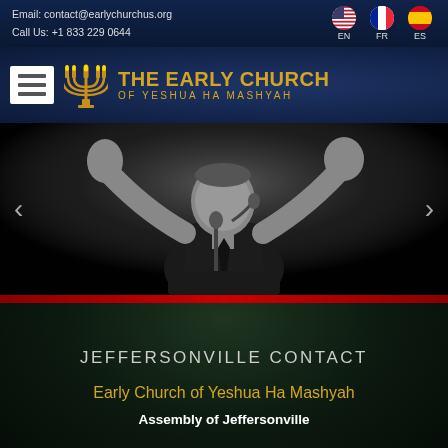Email: contact@earlychurchus.org
Call Us: +1 833 229 0644
EN  FR  ES
[Figure (logo): The Early Church of Yeshua Ha Mashyah logo with menorah icon and hamburger menu]
[Figure (photo): Black and white photo of a man preaching at a microphone with hands raised]
JEFFERSONVILLE CONTACT
Early Church of Yeshua Ha Mashyah
Assembly of Jeffersonville